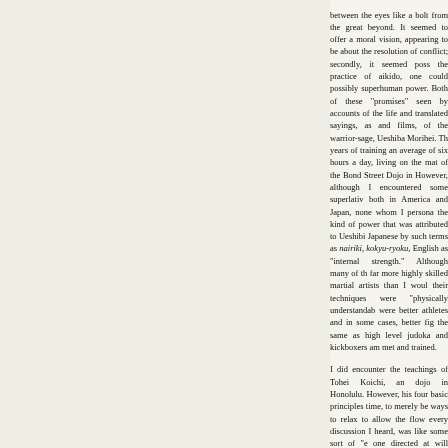between the eyes like a bolt from the great beyond. It seemed to offer a moral vision, appearing to be about the resolution of conflict; secondly, it seemed possible the practice of aikido, one could possibly superhuman power. Both of these "promises" seen by accounts of the life and translated sayings, as and films, of the warrior-sage, Ueshiba Morihei. Th years of training an average of six hours a day, living on the mat of the Bond Street Dojo in However, although I encountered some superlative both in America and Japan, none whom I persona the kind of power that was attributed to Ueshift Japanese by such terms as nairiki, kokyu-ryoku English as "internal strength." Although many of th far more highly skilled martial artists than I woul their techniques were "physically understandab were better athletes and in some cases, better fig the same as high level judoka and kickboxers am met and trained.
I did encounter the teachings of Tohei Koichi, a dojo in Honolulu. However, his four basic principle time, to merely be ways to relax to allow the flow every discussion I heard, was like some sort of "e one directed at will through one's body. I never (perhaps my loss), but at any rate, I found nothi different from other aikido teachers among th among his disciples whom I did meet, nor did any training which provided an avenue to the acquisiti power, even at aikido's headquarters dojo. Event